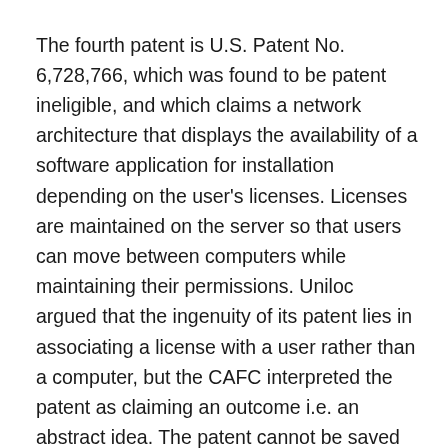The fourth patent is U.S. Patent No. 6,728,766, which was found to be patent ineligible, and which claims a network architecture that displays the availability of a software application for installation depending on the user's licenses. Licenses are maintained on the server so that users can move between computers while maintaining their permissions. Uniloc argued that the ingenuity of its patent lies in associating a license with a user rather than a computer, but the CAFC interpreted the patent as claiming an outcome i.e. an abstract idea. The patent cannot be saved by the way it achieves the outcome, since it merely uses a computer for collecting and displaying information, which is not inventive.
The lessons to be gathered from the evaluation